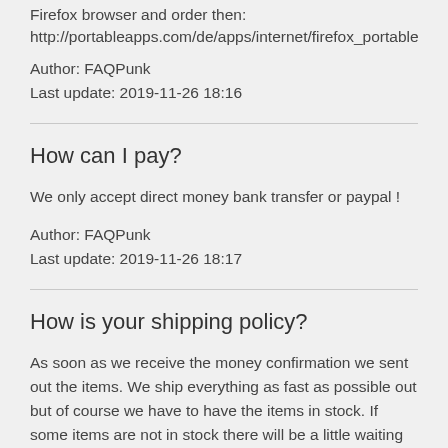Firefox browser and order then:
http://portableapps.com/de/apps/internet/firefox_portable
Author: FAQPunk
Last update: 2019-11-26 18:16
How can I pay?
We only accept direct money bank transfer or paypal !
Author: FAQPunk
Last update: 2019-11-26 18:17
How is your shipping policy?
As soon as we receive the money confirmation we sent out the items. We ship everything as fast as possible out but of course we have to have the items in stock. If some items are not in stock there will be a little waiting time. We sometimes